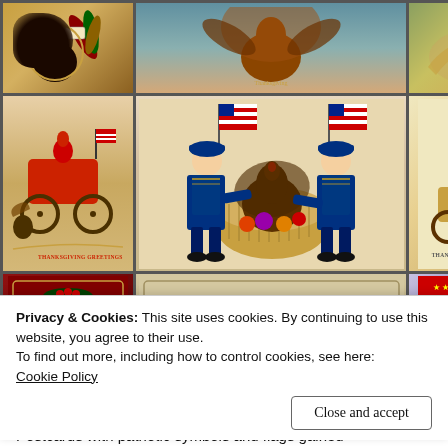[Figure (photo): Collage of vintage Thanksgiving postcards featuring patriotic symbols, turkeys, flags, children in sailor suits with a cornucopia basket, and holiday greetings. Multiple postcards arranged in a 3x3 grid.]
Privacy & Cookies: This site uses cookies. By continuing to use this website, you agree to their use.
To find out more, including how to control cookies, see here:
Cookie Policy
Close and accept
Postcards with patriotic symbols and flags gained